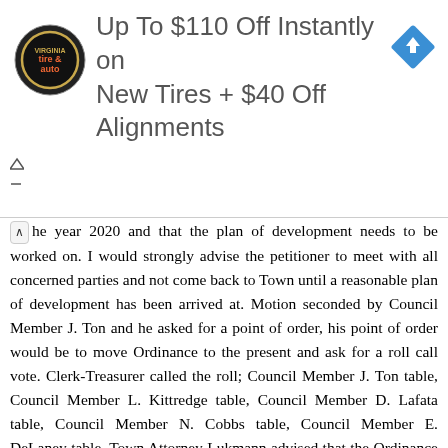[Figure (other): Advertisement banner: circular tire & auto logo on left, blue diamond navigation icon on right, text reading 'Up To $110 Off Instantly on New Tires + $40 Off Alignments']
he year 2020 and that the plan of development needs to be worked on. I would strongly advise the petitioner to meet with all concerned parties and not come back to Town until a reasonable plan of development has been arrived at. Motion seconded by Council Member J. Ton and he asked for a point of order, his point of order would be to move Ordinance to the present and ask for a roll call vote. Clerk-Treasurer called the roll; Council Member J. Ton table, Council Member L. Kittredge table, Council Member D. Lafata table, Council Member N. Cobbs table, Council Member E. DeLaney table. Town Attorney Lukmann advised that the Ordinance is now tabled pursuant to the instructions
and requests that Council Member E. DeLaney made. Council Member J. Ton stated that he would like to make one more comment, once an Ordinance is tabled it takes a motion, and a second from one of the Council Members to